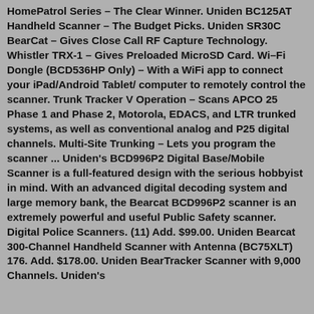HomePatrol Series – The Clear Winner. Uniden BC125AT Handheld Scanner – The Budget Picks. Uniden SR30C BearCat – Gives Close Call RF Capture Technology. Whistler TRX-1 – Gives Preloaded MicroSD Card. Wi–Fi Dongle (BCD536HP Only) – With a WiFi app to connect your iPad/Android Tablet/ computer to remotely control the scanner. Trunk Tracker V Operation – Scans APCO 25 Phase 1 and Phase 2, Motorola, EDACS, and LTR trunked systems, as well as conventional analog and P25 digital channels. Multi-Site Trunking – Lets you program the scanner ... Uniden's BCD996P2 Digital Base/Mobile Scanner is a full-featured design with the serious hobbyist in mind. With an advanced digital decoding system and large memory bank, the Bearcat BCD996P2 scanner is an extremely powerful and useful Public Safety scanner. Digital Police Scanners. (11) Add. $99.00. Uniden Bearcat 300-Channel Handheld Scanner with Antenna (BC75XLT) 176. Add. $178.00. Uniden BearTracker Scanner with 9,000 Channels. Uniden's